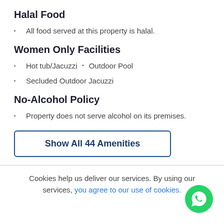Halal Food
All food served at this property is halal.
Women Only Facilities
Hot tub/Jacuzzi  •  Outdoor Pool
Secluded Outdoor Jacuzzi
No-Alcohol Policy
Property does not serve alcohol on its premises.
Show All 44 Amenities
Cookies help us deliver our services. By using our services, you agree to our use of cookies.
[Figure (logo): WhatsApp chat button icon (green circle with white phone/chat icon)]